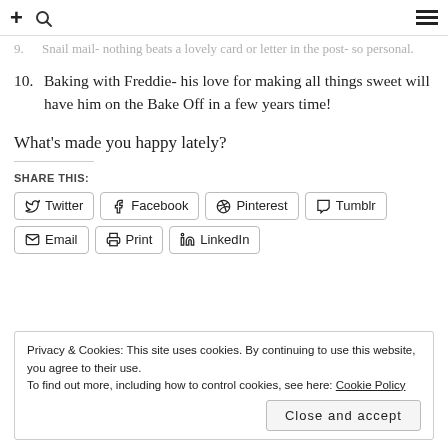+ [search icon] [menu icon]
9. Snail mail- nothing beats a lovely card or letter in the post- so personal.
10. Baking with Freddie- his love for making all things sweet will have him on the Bake Off in a few years time!
What's made you happy lately?
SHARE THIS:
Twitter Facebook Pinterest Tumblr Email Print LinkedIn
Privacy & Cookies: This site uses cookies. By continuing to use this website, you agree to their use.
To find out more, including how to control cookies, see here: Cookie Policy
Close and accept